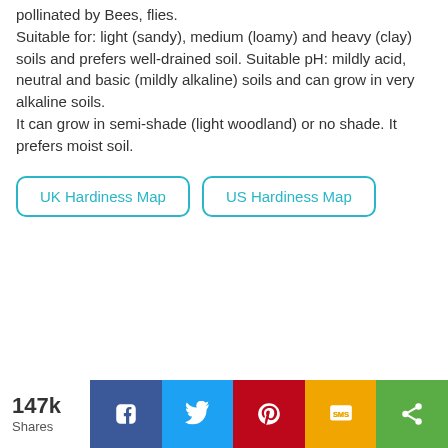pollinated by Bees, flies.
Suitable for: light (sandy), medium (loamy) and heavy (clay) soils and prefers well-drained soil. Suitable pH: mildly acid, neutral and basic (mildly alkaline) soils and can grow in very alkaline soils.
It can grow in semi-shade (light woodland) or no shade. It prefers moist soil.
UK Hardiness Map | US Hardiness Map
147k Shares